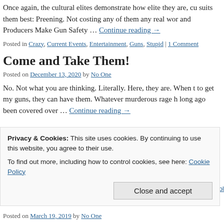Once again, the cultural elites demonstrate how elite they are, cu suits them best: Preening. Not costing any of them any real wor and Producers Make Gun Safety … Continue reading →
Posted in Crazy, Current Events, Entertainment, Guns, Stupid | 1 Comment
Come and Take Them!
Posted on December 13, 2020 by No One
No. Not what you are thinking. Literally. Here, they are. When t to get my guns, they can have them. Whatever murderous rage h long ago been covered over … Continue reading →
Privacy & Cookies: This site uses cookies. By continuing to use this website, you agree to their use.
To find out more, including how to control cookies, see here: Cookie Policy
Close and accept
Posted on March 19, 2019 by No One